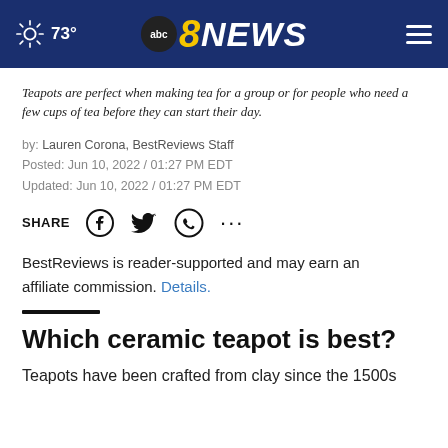73° abc8NEWS
Teapots are perfect when making tea for a group or for people who need a few cups of tea before they can start their day.
by: Lauren Corona, BestReviews Staff
Posted: Jun 10, 2022 / 01:27 PM EDT
Updated: Jun 10, 2022 / 01:27 PM EDT
SHARE
BestReviews is reader-supported and may earn an affiliate commission. Details.
Which ceramic teapot is best?
Teapots have been crafted from clay since the 1500s